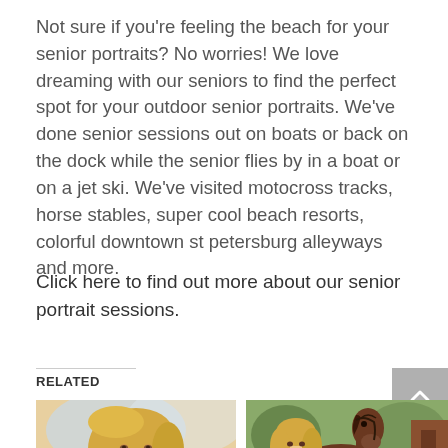Not sure if you're feeling the beach for your senior portraits? No worries! We love dreaming with our seniors to find the perfect spot for your outdoor senior portraits. We've done senior sessions out on boats or back on the dock while the senior flies by in a boat or on a jet ski. We've visited motocross tracks, horse stables, super cool beach resorts, colorful downtown st petersburg alleyways and more.
Click here to find out more about our senior portrait sessions.
RELATED
[Figure (photo): Portrait photo of a blonde young woman resting her chin on her hand, wearing a gold necklace, with a blurred blue and yellow background]
[Figure (photo): Photo of a blonde young woman with a brown horse, standing near a stable with green trees in the background]